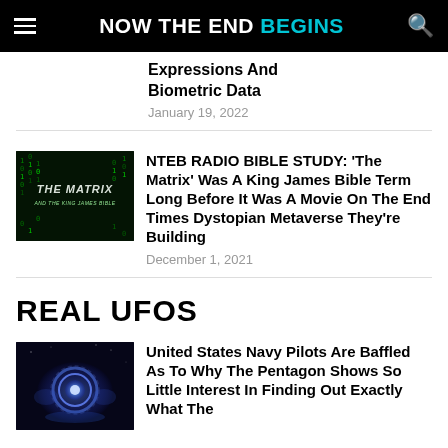NOW THE END BEGINS
Expressions And Biometric Data
January 19, 2022
NTEB RADIO BIBLE STUDY: 'The Matrix' Was A King James Bible Term Long Before It Was A Movie On The End Times Dystopian Metaverse They're Building
December 1, 2021
REAL UFOS
United States Navy Pilots Are Baffled As To Why The Pentagon Shows So Little Interest In Finding Out Exactly What The
[Figure (photo): The Matrix and the King James Bible book cover with green digital rain text on dark background]
[Figure (photo): UFO or futuristic craft with blue glowing light in dark background]